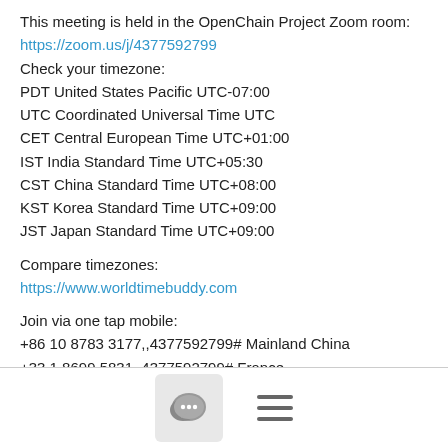This meeting is held in the OpenChain Project Zoom room:
https://zoom.us/j/4377592799
Check your timezone:
PDT United States Pacific UTC-07:00
UTC Coordinated Universal Time UTC
CET Central European Time UTC+01:00
IST India Standard Time UTC+05:30
CST China Standard Time UTC+08:00
KST Korea Standard Time UTC+09:00
JST Japan Standard Time UTC+09:00
Compare timezones:
https://www.worldtimebuddy.com
Join via one tap mobile:
+86 10 8783 3177,,4377592799# Mainland China
+33 1 8699 5831,,4377592799# France
+49 69 7104 9922,,4377592799# Germany
+81 524 564 439,,4377592799# Japan
+82 2 3143 9612,,4377592799# Korea
+91 80 71 279 440,,4377592799# India
[Figure (infographic): Footer with chat bubble icon in a rounded grey box and a hamburger menu icon]